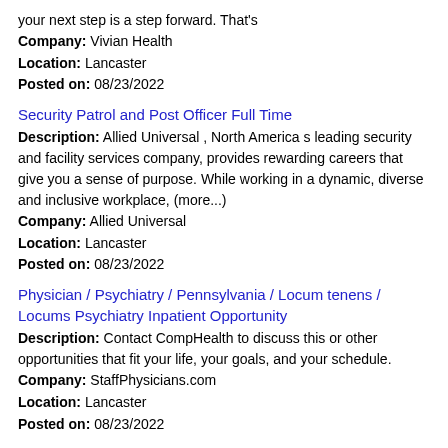your next step is a step forward. That's
Company: Vivian Health
Location: Lancaster
Posted on: 08/23/2022
Security Patrol and Post Officer Full Time
Description: Allied Universal , North America s leading security and facility services company, provides rewarding careers that give you a sense of purpose. While working in a dynamic, diverse and inclusive workplace, (more...)
Company: Allied Universal
Location: Lancaster
Posted on: 08/23/2022
Physician / Psychiatry / Pennsylvania / Locum tenens / Locums Psychiatry Inpatient Opportunity
Description: Contact CompHealth to discuss this or other opportunities that fit your life, your goals, and your schedule.
Company: StaffPhysicians.com
Location: Lancaster
Posted on: 08/23/2022